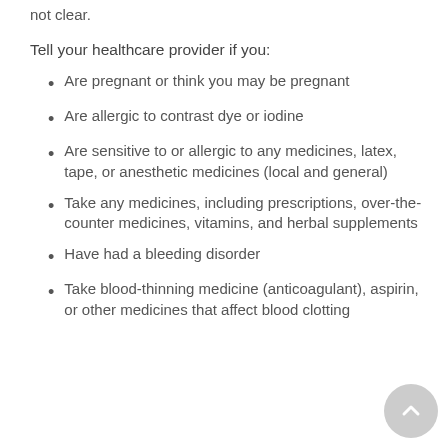not clear.
Tell your healthcare provider if you:
Are pregnant or think you may be pregnant
Are allergic to contrast dye or iodine
Are sensitive to or allergic to any medicines, latex, tape, or anesthetic medicines (local and general)
Take any medicines, including prescriptions, over-the-counter medicines, vitamins, and herbal supplements
Have had a bleeding disorder
Take blood-thinning medicine (anticoagulant), aspirin, or other medicines that affect blood clotting